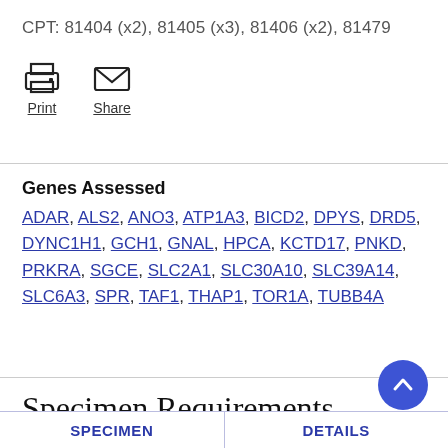CPT: 81404 (x2), 81405 (x3), 81406 (x2), 81479
[Figure (infographic): Print and Share icon buttons]
Genes Assessed
ADAR, ALS2, ANO3, ATP1A3, BICD2, DPYS, DRD5, DYNC1H1, GCH1, GNAL, HPCA, KCTD17, PNKD, PRKRA, SGCE, SLC2A1, SLC30A10, SLC39A14, SLC6A3, SPR, TAF1, THAP1, TOR1A, TUBB4A
Specimen Requirements
Specimen
SPECIMEN    DETAILS